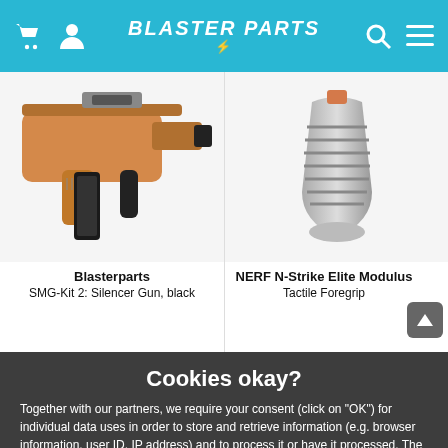Blaster Parts
[Figure (photo): Photo of Blasterparts SMG-Kit 2 Silencer Gun in black, showing a Nerf-style blaster with extended magazine and foregrip]
Blasterparts
SMG-Kit 2: Silencer Gun, black
[Figure (photo): Photo of NERF N-Strike Elite Modulus Tactile Foregrip accessory in grey metallic finish]
NERF N-Strike Elite Modulus
Tactile Foregrip
Cookies okay?
Together with our partners, we require your consent (click on "OK") for individual data uses in order to store and retrieve information (e.g. browser information, user ID, IP address) and to process it or have it processed. The data usage is for personalised functionalities, content and ads
OK
More Information